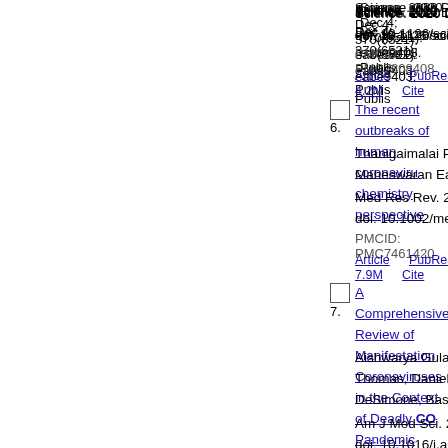Science. 2020 Dec 4; 370(6521): eabe9403. Published online 2020 Nov 5. doi: 10.1126/science.abe9403
PMCID: PMC7808408
Article  PubReader  PDF–4.2M  Cite
The recent outbreaks of human coronaviruses: a medicinal chemistry perspective
6.
Thanigaimalai Pillaiyar, Lukas L. Wendt, Maheswaran Easwaran
Med Res Rev. 2021 Jan; 41(1): 72–135. Published online 2020 Aug 29. doi: 10.1002/med.21724
PMCID: PMC7461420
Article  PubReader  PDF–7.9M  Cite
A Comprehensive Review of Manifestations of Novel Coronaviruses in the Context of Deadly COVID-19 Pandemic
7.
Aishwarya Gulati, Corbin Pomeranz, Zahra Thomas, Daniel Frisch, Gautam George, DeSimone, Baskaran Sundaram
Am J Med Sci. 2020 Jul; 360(1): 5–34. Published online 2020 May 17. doi: 10.1016/j.amjms.2020.05.006
PMCID: PMC7212949
Article  PubReader  PDF–517K  Cite